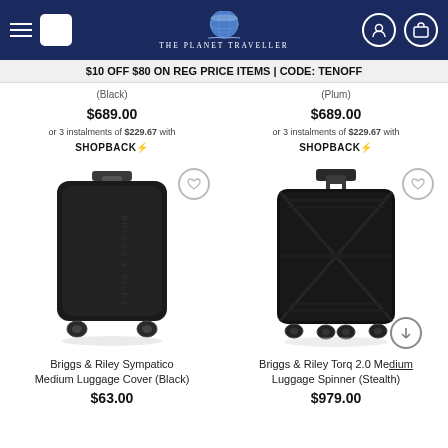The Planet Traveller
$10 OFF $80 ON REG PRICE ITEMS | CODE: TENOFF
(Black) $689.00 or 3 instalments of $229.67 with SHOPBACK
(Plum) $689.00 or 3 instalments of $229.67 with SHOPBACK
[Figure (photo): Briggs & Riley Sympatico Medium Luggage Cover in Black]
Briggs & Riley Sympatico Medium Luggage Cover (Black) $63.00
[Figure (photo): Briggs & Riley Torq 2.0 Medium Luggage Spinner in Stealth (black)]
Briggs & Riley Torq 2.0 Medium Luggage Spinner (Stealth) $979.00